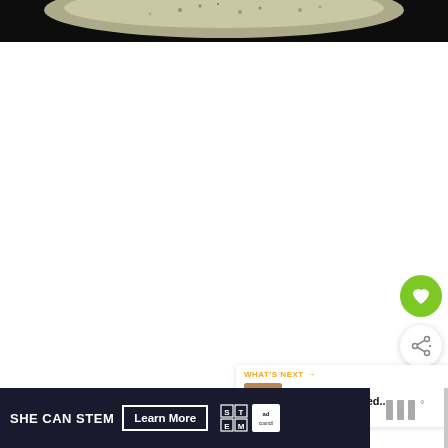[Figure (photo): Top portion of a dark food photo — a speckled light-colored food item (possibly a flatbread or fish) on a dark/black background, cropped near the top of the page.]
[Figure (screenshot): White empty space representing the main content area of a webpage, with a green circular heart/favorite button and a white circular share button on the right side.]
[Figure (screenshot): What's Next card panel showing a thumbnail of a BBQ pulled pork dish and the text 'WHAT'S NEXT → Tasty BBQ Pulled...' in orange and black.]
[Figure (screenshot): Ad banner: SHE CAN STEM with Learn More button, STEM and Ad Council logos, on dark navy background.]
[Figure (logo): App icon area showing three vertical bars and a degree symbol, representing a mobile app icon (Monocle or similar).]